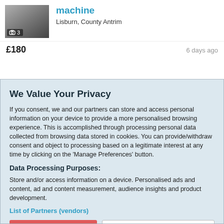[Figure (screenshot): Thumbnail image of a machine listing with camera icon and photo count badge showing '3']
machine
Lisburn, County Antrim
£180
6 days ago
We Value Your Privacy
If you consent, we and our partners can store and access personal information on your device to provide a more personalised browsing experience. This is accomplished through processing personal data collected from browsing data stored in cookies. You can provide/withdraw consent and object to processing based on a legitimate interest at any time by clicking on the 'Manage Preferences' button.
Data Processing Purposes:
Store and/or access information on a device. Personalised ads and content, ad and content measurement, audience insights and product development.
List of Partners (vendors)
Accept
Manage your privacy settings